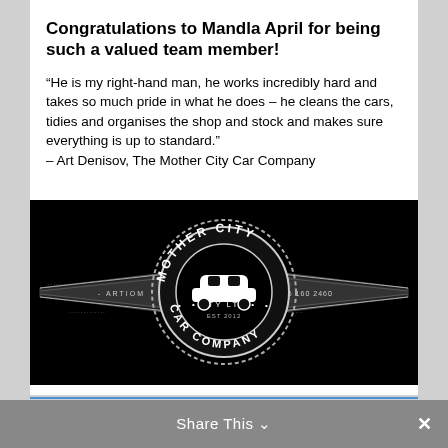Congratulations to Mandla April for being such a valued team member!
“He is my right-hand man, he works incredibly hard and takes so much pride in what he does – he cleans the cars, tidies and organises the shop and stock and makes sure everything is up to standard.”
– Art Denisov, The Mother City Car Company
[Figure (logo): Mother City Car Company logo on black background. Circular badge with text MOTHER CITY CAR COMPANY PTY LTD, EST 2012, with a vintage car illustration in the center. Wings extend left and right with text ARTIOM on left and 076 160 2460 on right.]
Share This ⌄  ×